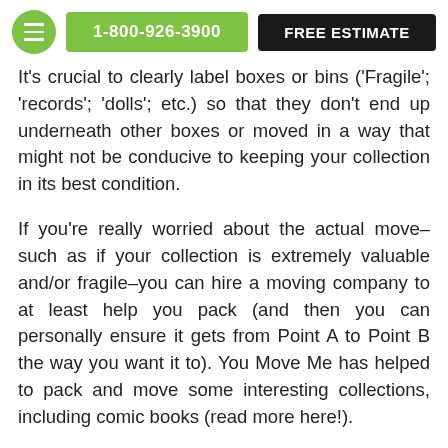1-800-926-3900 | FREE ESTIMATE
It's crucial to clearly label boxes or bins ('Fragile'; 'records'; 'dolls'; etc.) so that they don't end up underneath other boxes or moved in a way that might not be conducive to keeping your collection in its best condition.
If you're really worried about the actual move–such as if your collection is extremely valuable and/or fragile–you can hire a moving company to at least help you pack (and then you can personally ensure it gets from Point A to Point B the way you want it to). You Move Me has helped to pack and move some interesting collections, including comic books (read more here!).